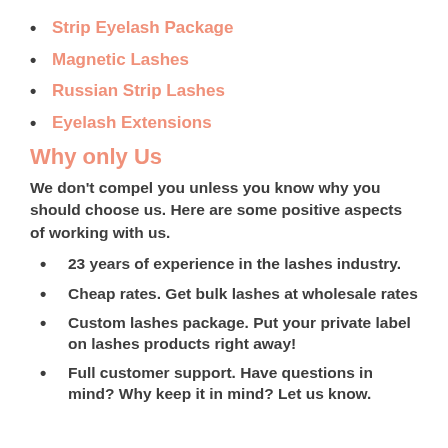Strip Eyelash Package
Magnetic Lashes
Russian Strip Lashes
Eyelash Extensions
Why only Us
We don't compel you unless you know why you should choose us. Here are some positive aspects of working with us.
23 years of experience in the lashes industry.
Cheap rates. Get bulk lashes at wholesale rates
Custom lashes package. Put your private label on lashes products right away!
Full customer support. Have questions in mind? Why keep it in mind? Let us know.